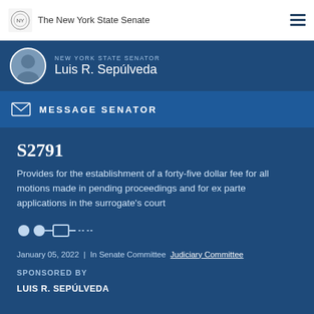The New York State Senate
NEW YORK STATE SENATOR Luis R. Sepúlveda
MESSAGE SENATOR
S2791
Provides for the establishment of a forty-five dollar fee for all motions made in pending proceedings and for ex parte applications in the surrogate's court
January 05, 2022 | In Senate Committee Judiciary Committee
SPONSORED BY
LUIS R. SEPÚLVEDA